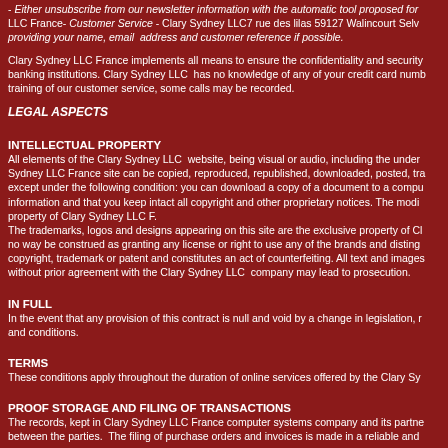- Either unsubscribe from our newsletter information with the automatic tool proposed for LLC France- Customer Service - Clary Sydney LLC7 rue des lilas 59127 Walincourt Selvignac providing your name, email address and customer reference if possible.
Clary Sydney LLC France implements all means to ensure the confidentiality and security banking institutions. Clary Sydney LLC has no knowledge of any of your credit card numb training of our customer service, some calls may be recorded.
LEGAL ASPECTS
INTELLECTUAL PROPERTY
All elements of the Clary Sydney LLC website, being visual or audio, including the under Sydney LLC France site can be copied, reproduced, republished, downloaded, posted, tra except under the following condition: you can download a copy of a document to a compu information and that you keep intact all copyright and other proprietary notices. The modi property of Clary Sydney LLC F.
The trademarks, logos and designs appearing on this site are the exclusive property of C no way be construed as granting any license or right to use any of the brands and disting copyright, trademark or patent and constitutes an act of counterfeiting. All text and images without prior agreement with the Clary Sydney LLC company may lead to prosecution.
IN FULL
In the event that any provision of this contract is null and void by a change in legislation, r and conditions.
TERMS
These conditions apply throughout the duration of online services offered by the Clary Sy
PROOF STORAGE AND FILING OF TRANSACTIONS
The records, kept in Clary Sydney LLC France computer systems company and its partne between the parties.  The filing of purchase orders and invoices is made in a reliable and
COUNTERFEITING
Faithful to its charter, Clary Sydney LLC France is committed to distributing brands from k brands that hold the rights of the images, brands and models registered and copyrighted t Terms of Sale in effect as of July 18, 2009 Top of Form Bottom of Form
Clary Sydney France rue des lilas 59127 Walincourt Selvignac France